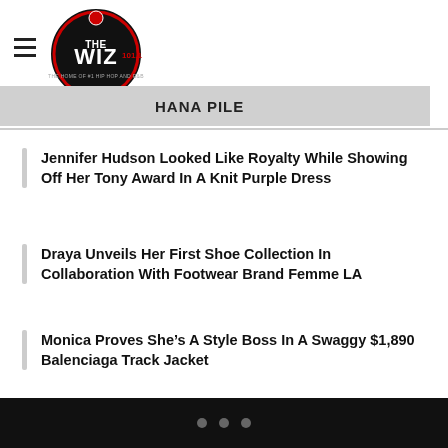THE WIZ 101.1 — HANA PILE
Jennifer Hudson Looked Like Royalty While Showing Off Her Tony Award In A Knit Purple Dress
Draya Unveils Her First Shoe Collection In Collaboration With Footwear Brand Femme LA
Monica Proves She's A Style Boss In A Swaggy $1,890 Balenciaga Track Jacket
Leave a Reply
Enter your comment here...